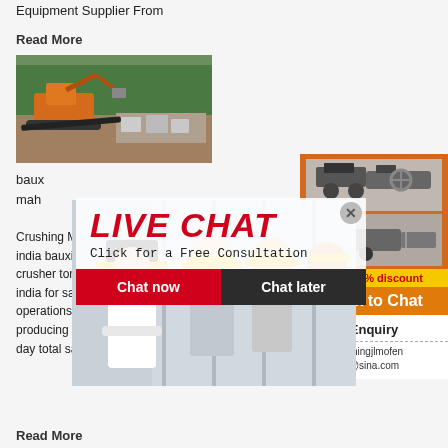Equipment Supplier From
Read More
[Figure (photo): Excavator and mining equipment at a quarry site with trees in background]
baux... mah...
[Figure (photo): Construction workers in yellow hard hats with live chat overlay popup showing LIVE CHAT - Click for a Free Consultation with Chat now and Chat later buttons]
[Figure (photo): Right sidebar with orange background showing industrial crushing machines, Enjoy 3% discount banner, Click to Chat button, Enquiry section, and limingjlmofen@sina.com email]
Crushing Machine In India. Bauxite crushing machine india bauxite crusher tonnes india for sale bauxite crusher tonnes india for sale bauxite crusher 15 tonnes india for sale cost models of theoretical mining operations costmine this mine is an open pit mine producing 5 000 tonnes ore and 5 000 tonnes day total salaried personnel 15 runo.
Read More